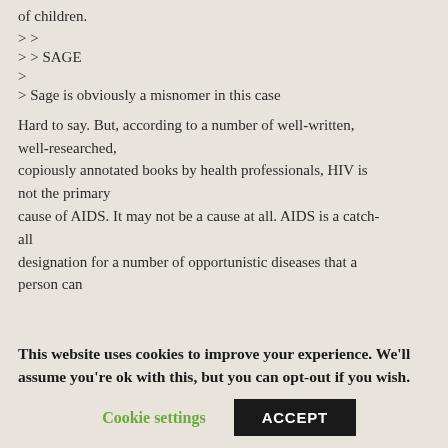of children.
> >
> > SAGE
>
> Sage is obviously a misnomer in this case
Hard to say. But, according to a number of well-written, well-researched, copiously annotated books by health professionals, HIV is not the primary cause of AIDS. It may not be a cause at all. AIDS is a catch-all designation for a number of opportunistic diseases that a person can
This website uses cookies to improve your experience. We'll assume you're ok with this, but you can opt-out if you wish.